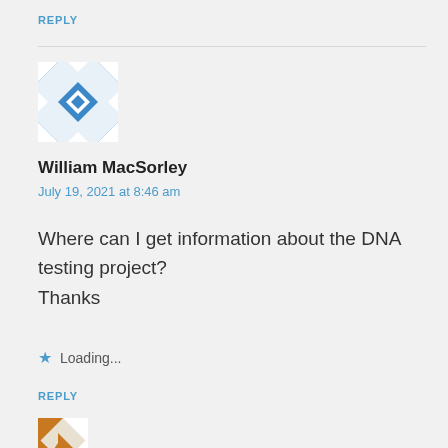REPLY
[Figure (illustration): User avatar with blue and white geometric quilt-like pattern]
William MacSorley
July 19, 2021 at 8:46 am
Where can I get information about the DNA testing project?
Thanks
Loading...
REPLY
[Figure (illustration): Partial view of another user avatar with orange/brown geometric pattern]